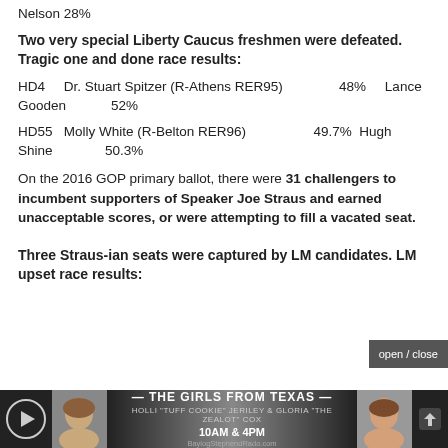Nelson 28%
Two very special Liberty Caucus freshmen were defeated. Tragic one and done race results:
HD4   Dr. Stuart Spitzer (R-Athens RER95)   48%   Lance Gooden   52%
HD55  Molly White (R-Belton RER96)   49.7%  Hugh Shine   50.3%
On the 2016 GOP primary ballot, there were 31 challengers to incumbent supporters of Speaker Joe Straus and earned unacceptable scores, or were attempting to fill a vacated seat.
Three Straus-ian seats were captured by LM candidates. LM upset race results:
[Figure (screenshot): Advertisement banner: The Girls From Texas radio show, 10AM & 4PM, with play button, two female photos, and share icon]